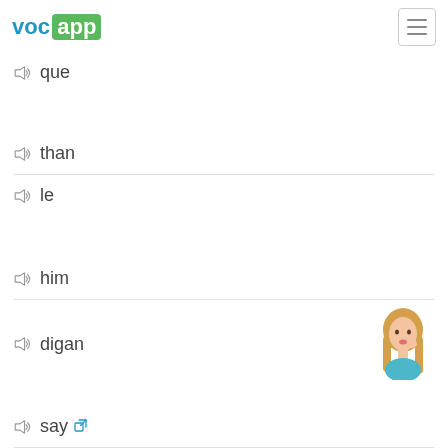VocApp
que
than
le
him
digan
say